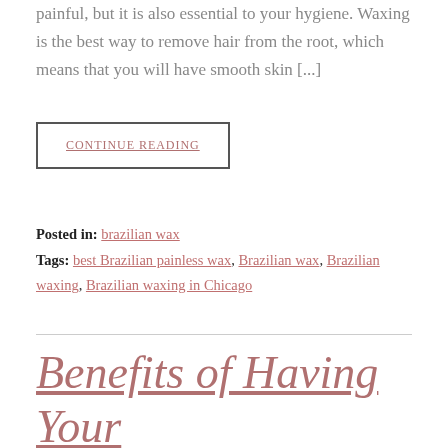painful, but it is also essential to your hygiene. Waxing is the best way to remove hair from the root, which means that you will have smooth skin [...]
CONTINUE READING
Posted in: brazilian wax
Tags: best Brazilian painless wax, Brazilian wax, Brazilian waxing, Brazilian waxing in Chicago
Benefits of Having Your Eyebrows Waxed by